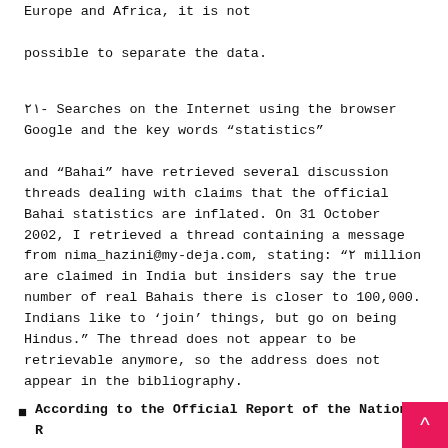Europe and Africa, it is not

possible to separate the data.
٢١- Searches on the Internet using the browser Google and the key words “statistics”

and “Bahai” have retrieved several discussion threads dealing with claims that the official Bahai statistics are inflated. On 31 October 2002, I retrieved a thread containing a message from nima_hazini@my-deja.com, stating: “٢ million are claimed in India but insiders say the true number of real Bahais there is closer to 100,000. Indians like to ‘join’ things, but go on being Hindus.” The thread does not appear to be retrievable anymore, so the address does not appear in the bibliography.
According to the Official Report of the National R...